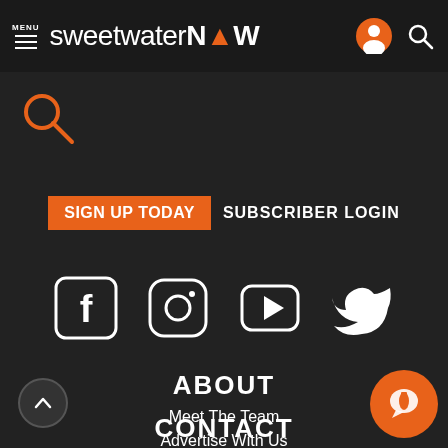MENU sweetwaterNOW
[Figure (screenshot): Search icon (magnifying glass) in top left area below header]
SIGN UP TODAY  SUBSCRIBER LOGIN
[Figure (infographic): Social media icons: Facebook, Instagram, YouTube, Twitter]
ABOUT
Meet The Team
Advertise With Us
Privacy Policy
CONTACT